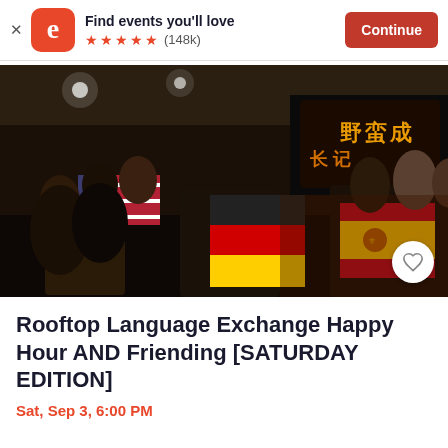Find events you'll love ★★★★★ (148k) Continue
[Figure (photo): Interior of a bar/restaurant with people socializing. Flags visible including American, German, and Spanish flags. Dark ceiling with lights. TV screens visible in background.]
Rooftop Language Exchange Happy Hour AND Friending [SATURDAY EDITION]
Sat, Sep 3, 6:00 PM